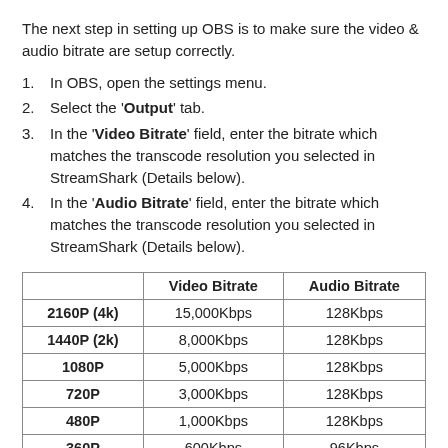The next step in setting up OBS is to make sure the video & audio bitrate are setup correctly.
1. In OBS, open the settings menu.
2. Select the 'Output' tab.
3. In the 'Video Bitrate' field, enter the bitrate which matches the transcode resolution you selected in StreamShark (Details below).
4. In the 'Audio Bitrate' field, enter the bitrate which matches the transcode resolution you selected in StreamShark (Details below).
|  | Video Bitrate | Audio Bitrate |
| --- | --- | --- |
| 2160P (4k) | 15,000Kbps | 128Kbps |
| 1440P (2k) | 8,000Kbps | 128Kbps |
| 1080P | 5,000Kbps | 128Kbps |
| 720P | 3,000Kbps | 128Kbps |
| 480P | 1,000Kbps | 128Kbps |
| 360P | 600Kbps | 96Kbps |